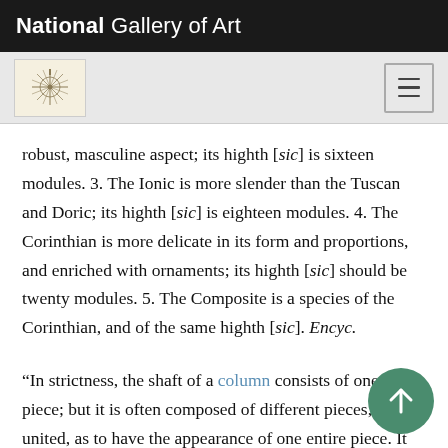National Gallery of Art
robust, masculine aspect; its highth [sic] is sixteen modules. 3. The Ionic is more slender than the Tuscan and Doric; its highth [sic] is eighteen modules. 4. The Corinthian is more delicate in its form and proportions, and enriched with ornaments; its highth [sic] should be twenty modules. 5. The Composite is a species of the Corinthian, and of the same highth [sic]. Encyc.
“In strictness, the shaft of a column consists of one entire piece; but it is often composed of different pieces, so united, as to have the appearance of one entire piece. It differs in this respect from a pillar.